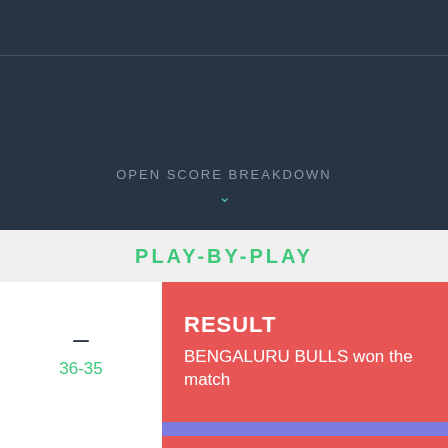OPEN SCORE BREAKDOWN
PLAY-BY-PLAY
– 36-35
RESULT
BENGALURU BULLS won the match
39' 36-35
SUCCESSFUL RAID
Mohammad Nabibakhsh raids successfully